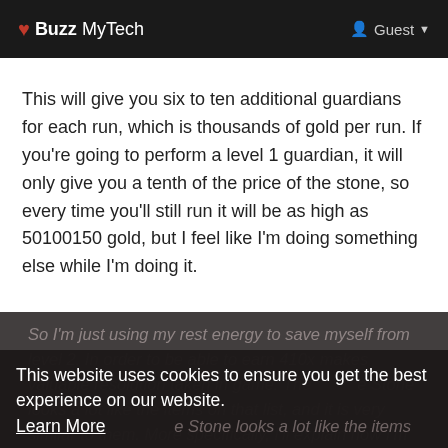❤ Buzz MyTech  |  Guest
This will give you six to ten additional guardians for each run, which is thousands of gold per run. If you're going to perform a level 1 guardian, it will only give you a tenth of the price of the stone, so every time you'll still run it will be as high as 50100150 gold, but I feel like I'm doing something else while I'm doing it.
So I'm just using my rest energy to save myself from level 2. In order to be able to earn 410x makes valuable resolution taken in game. The  e Stone looks a lot like the items on that list, and it is very similar to them. More specifically, I'll explain how I'm amassing more than 20,000 dollars in gold. There is a lot to keep track of. There are a variety of alternates
This website uses cookies to ensure you get the best experience on our website. Learn More
Got It!